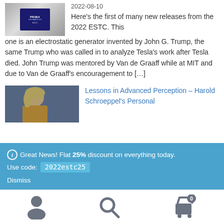[Figure (photo): Thumbnail image showing a logo/publication cover with dark blue background and text]
2022-08-10
Here’s the first of many new releases from the 2022 ESTC. This one is an electrostatic generator invented by John G. Trump, the same Trump who was called in to analyze Tesla’s work after Tesla died. John Trump was mentored by Van de Graaff while at MIT and due to Van de Graaff’s encouragement to […]
[Figure (photo): Photo of a blonde woman speaking at an event against a dark background]
Lessons in Advanced Perception – Harold Schroeppel’s Personal
ⓘ Great News! Flat 25% discount on everything today. Use code: 2022estc25 Dismiss